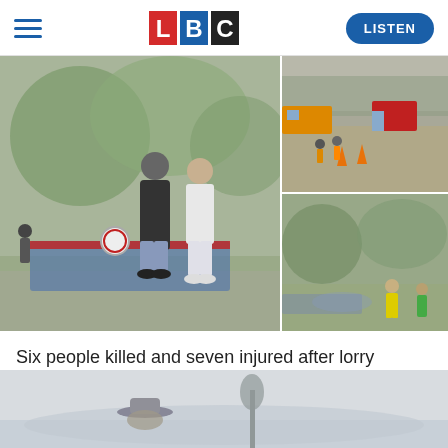[Figure (logo): LBC radio logo with red L, blue B, black C letters on white background]
[Figure (photo): Three photos: left large photo shows two people standing viewing an accident scene with road barrier and tarpaulin; top right shows emergency vehicles and workers at a scene; bottom right shows scene with emergency responders in high-vis jackets]
Six people killed and seven injured after lorry ploughs into community barbecue in the Netherlands
[Figure (photo): Partial image at bottom of page showing a person with a hat against a foggy/misty background]